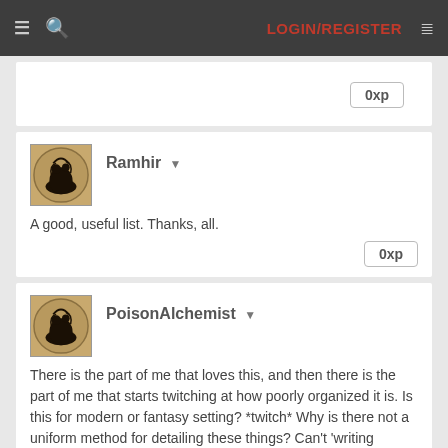≡ 🔍 LOGIN/REGISTER ≡
0xp
Ramhir ▼
A good, useful list. Thanks, all.
0xp
PoisonAlchemist ▼
There is the part of me that loves this, and then there is the part of me that starts twitching at how poorly organized it is. Is this for modern or fantasy setting? *twitch* Why is there not a uniform method for detailing these things? Can't 'writing